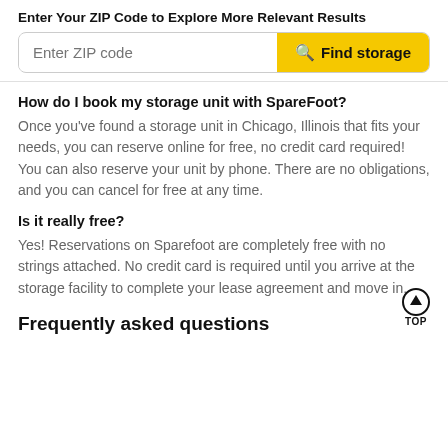Enter Your ZIP Code to Explore More Relevant Results
Enter ZIP code | Find storage
How do I book my storage unit with SpareFoot?
Once you've found a storage unit in Chicago, Illinois that fits your needs, you can reserve online for free, no credit card required! You can also reserve your unit by phone. There are no obligations, and you can cancel for free at any time.
Is it really free?
Yes! Reservations on Sparefoot are completely free with no strings attached. No credit card is required until you arrive at the storage facility to complete your lease agreement and move in.
Frequently asked questions